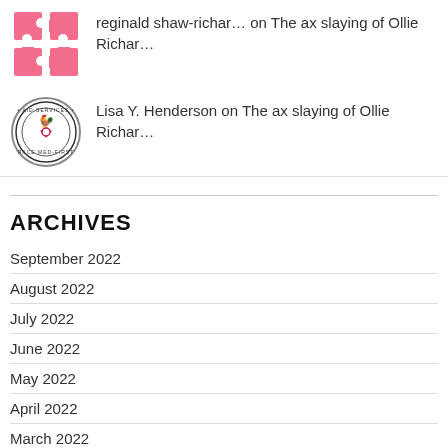[Figure (illustration): Pink puzzle piece avatar icon for reginald shaw-richar...]
reginald shaw-richar... on The ax slaying of Ollie Richar…
[Figure (logo): Circular logo avatar for Lisa Y. Henderson]
Lisa Y. Henderson on The ax slaying of Ollie Richar…
ARCHIVES
September 2022
August 2022
July 2022
June 2022
May 2022
April 2022
March 2022